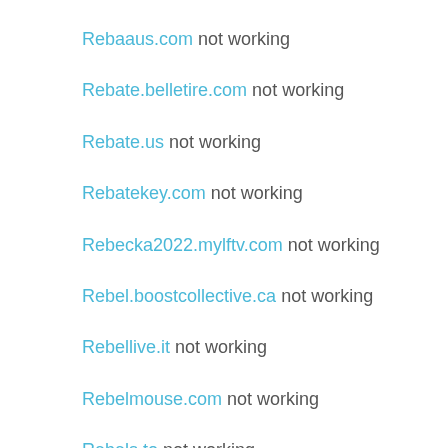Rebaaus.com not working
Rebate.belletire.com not working
Rebate.us not working
Rebatekey.com not working
Rebecka2022.mylftv.com not working
Rebel.boostcollective.ca not working
Rebellive.it not working
Rebelmouse.com not working
Rebels.to not working